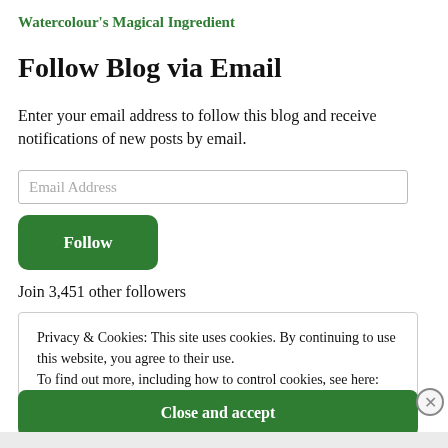Watercolour's Magical Ingredient
Follow Blog via Email
Enter your email address to follow this blog and receive notifications of new posts by email.
Join 3,451 other followers
Privacy & Cookies: This site uses cookies. By continuing to use this website, you agree to their use.
To find out more, including how to control cookies, see here: Cookie Policy